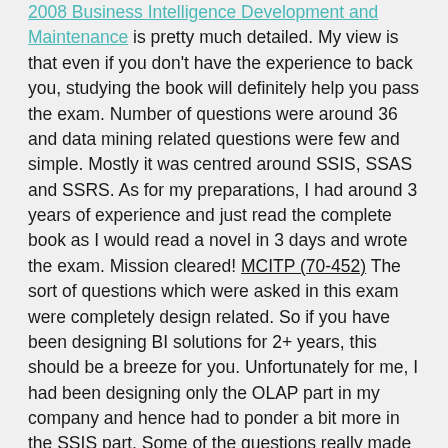2008 Business Intelligence Development and Maintenance is pretty much detailed. My view is that even if you don't have the experience to back you, studying the book will definitely help you pass the exam. Number of questions were around 36 and data mining related questions were few and simple. Mostly it was centred around SSIS, SSAS and SSRS. As for my preparations, I had around 3 years of experience and just read the complete book as I would read a novel in 3 days and wrote the exam. Mission cleared! MCITP (70-452) The sort of questions which were asked in this exam were completely design related. So if you have been designing BI solutions for 2+ years, this should be a breeze for you. Unfortunately for me, I had been designing only the OLAP part in my company and hence had to ponder a bit more in the SSIS part. Some of the questions really made me think, and even after that, I would be stuck with 2 answers. But the SSAS and SSRS parts were pretty decent which makes me re-affirm what I said before – you would find the parts easy if you have sufficient experience in it. In the end, I scored around 90% in the sections related to SSIS, SSAS and SSRS, but scored a 0 in the data mining part. There were only a few questions related to data mining, so guys, no need to get scared if you don't have